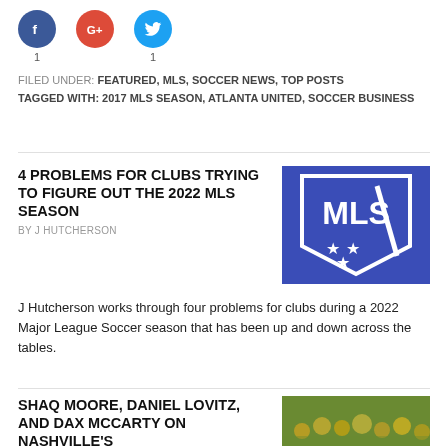[Figure (infographic): Social share buttons: Facebook (1), Google+, Twitter (1)]
FILED UNDER: FEATURED, MLS, SOCCER NEWS, TOP POSTS
TAGGED WITH: 2017 MLS SEASON, ATLANTA UNITED, SOCCER BUSINESS
4 PROBLEMS FOR CLUBS TRYING TO FIGURE OUT THE 2022 MLS SEASON
BY J HUTCHERSON
[Figure (logo): MLS shield logo in blue and white]
J Hutcherson works through four problems for clubs during a 2022 Major League Soccer season that has been up and down across the tables.
SHAQ MOORE, DANIEL LOVITZ, AND DAX MCCARTY ON NASHVILLE'S
[Figure (photo): Soccer crowd/stadium photo]